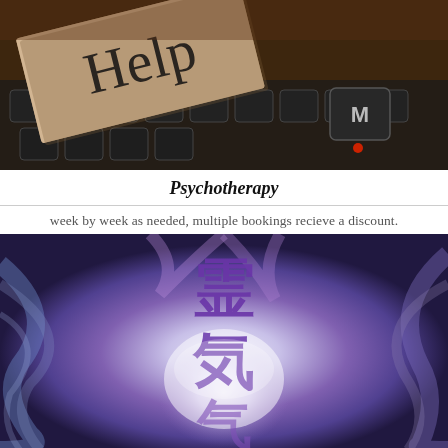[Figure (photo): A cardboard sign with 'Help' written in handwriting, resting on a dark keyboard with key 'M' visible]
Psychotherapy
week by week as needed, multiple bookings recieve a discount.
[Figure (photo): Mystical image with large Japanese/Chinese Reiki kanji characters (霊気) in purple/violet against a glowing blue and purple energy background]